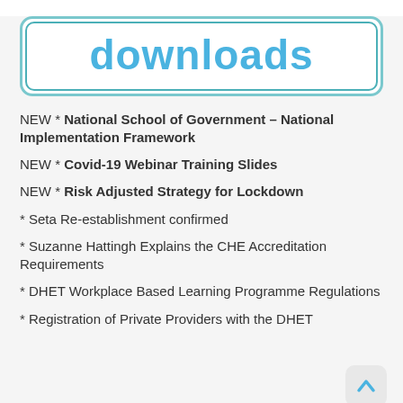downloads
NEW * National School of Government – National Implementation Framework
NEW * Covid-19 Webinar Training Slides
NEW * Risk Adjusted Strategy for Lockdown
* Seta Re-establishment confirmed
* Suzanne Hattingh Explains the CHE Accreditation Requirements
* DHET Workplace Based Learning Programme Regulations
* Registration of Private Providers with the DHET